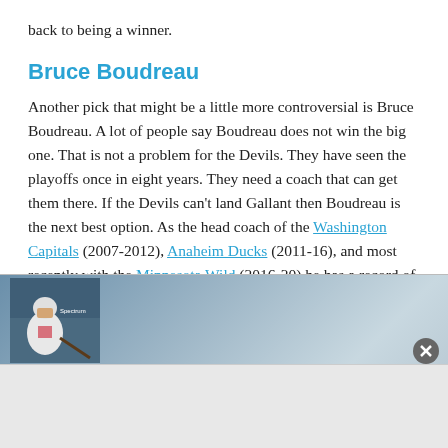back to being a winner.
Bruce Boudreau
Another pick that might be a little more controversial is Bruce Boudreau. A lot of people say Boudreau does not win the big one. That is not a problem for the Devils. They have seen the playoffs once in eight years. They need a coach that can get them there. If the Devils can’t land Gallant then Boudreau is the next best option. As the head coach of the Washington Capitals (2007-2012), Anaheim Ducks (2011-16), and most recently with the Minnesota Wild (2016-20) he has a record of 567-
[Figure (photo): Partial hockey player photo overlaid as advertisement at bottom of page, showing a hockey player in white jersey with arena crowd in background. Spectrum logo visible.]